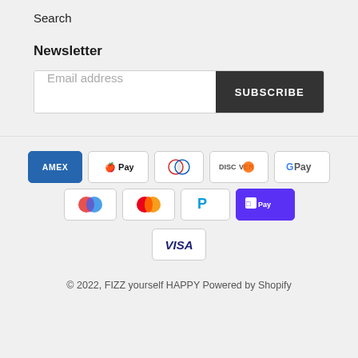Search
Newsletter
Email address  SUBSCRIBE
[Figure (other): Payment method icons: American Express, Apple Pay, Diners Club, Discover, Google Pay, Maestro, Mastercard, PayPal, Shop Pay, Visa]
© 2022, FIZZ yourself HAPPY Powered by Shopify